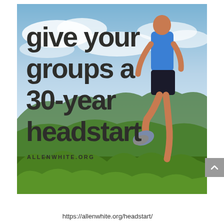[Figure (photo): A man running/jumping outdoors with mountains, green hills, and a blue sky with clouds in the background. He wears a blue tank top and black shorts. Large bold dark text overlaid on the left reads 'give your groups a 30-year headstart'. Below the text: 'ALLENWHITE.ORG'.]
https://allenwhite.org/headstart/